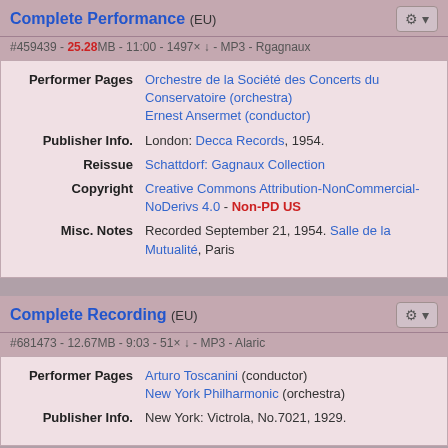Complete Performance (EU) #459439 - 25.28MB - 11:00 - 1497× ↓ - MP3 - Rgagnaux
| Field | Value |
| --- | --- |
| Performer Pages | Orchestre de la Société des Concerts du Conservatoire (orchestra)
Ernest Ansermet (conductor) |
| Publisher Info. | London: Decca Records, 1954. |
| Reissue | Schattdorf: Gagnaux Collection |
| Copyright | Creative Commons Attribution-NonCommercial-NoDerivs 4.0 - Non-PD US |
| Misc. Notes | Recorded September 21, 1954. Salle de la Mutualité, Paris |
Complete Recording (EU) #681473 - 12.67MB - 9:03 - 51× ↓ - MP3 - Alaric
| Field | Value |
| --- | --- |
| Performer Pages | Arturo Toscanini (conductor)
New York Philharmonic (orchestra) |
| Publisher Info. | New York: Victrola, No.7021, 1929. |